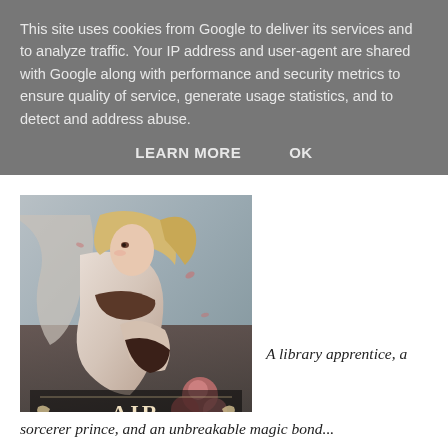This site uses cookies from Google to deliver its services and to analyze traffic. Your IP address and user-agent are shared with Google along with performance and security metrics to ensure quality of service, generate usage statistics, and to detect and address abuse.
LEARN MORE    OK
[Figure (illustration): Book cover for 'Air Awakens Book One' showing a fantasy illustration of a young woman with flowing blond hair in elegant clothing, surrounded by rose petals, with the title 'Air Awakens Book One' displayed at the bottom.]
A library apprentice, a
sorcerer prince, and an unbreakable magic bond...